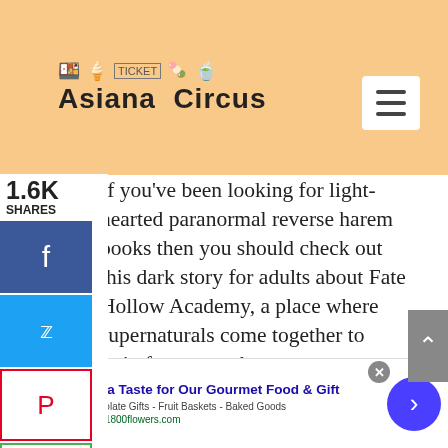[Figure (logo): Asiana Circus logo with small icons (sushi, soft-serve, ticket, popsicle, cocktail) above bold text 'Asiana Circus']
If you've been looking for light-hearted paranormal reverse harem books then you should check out this dark story for adults about Fate Hollow Academy, a place where supernaturals come together to train for war on humans.
It's also a perfect choice for those who have been looking for new vampire books but want a bit more steamy version. The story is set in a world where humans and supernatural beings are at war with each other. Lyra would
[Figure (screenshot): Advertisement banner: 'Get a Taste for Our Gourmet Food & Gift', Chocolate Gifts - Fruit Baskets - Baked Goods, www.1800flowers.com]